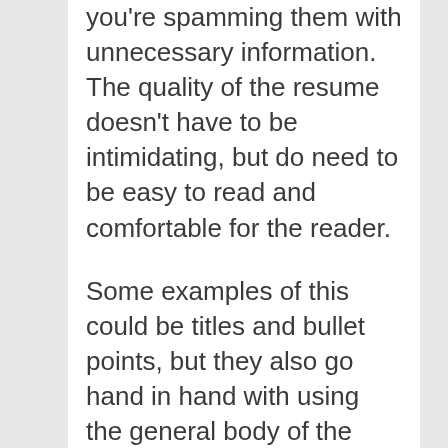you're spamming them with unnecessary information. The quality of the resume doesn't have to be intimidating, but do need to be easy to read and comfortable for the reader.
Some examples of this could be titles and bullet points, but they also go hand in hand with using the general body of the resume. It is important that you not only list your qualifications, but how you got to those qualifications. It's a better idea to include the section you studied for first, or something that helped you learn. Being able to explain how you got to where you are can really catch